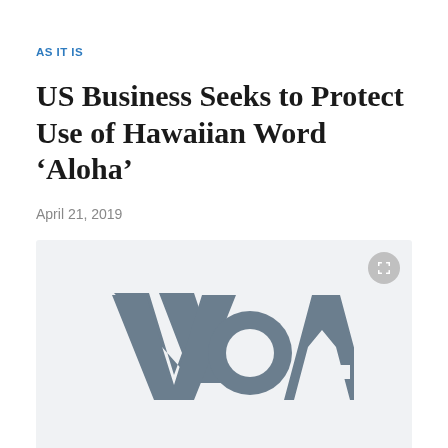AS IT IS
US Business Seeks to Protect Use of Hawaiian Word ‘Aloha’
April 21, 2019
[Figure (logo): VOA (Voice of America) logo in dark grey on light grey background, with an expand/fullscreen button in the top right corner]